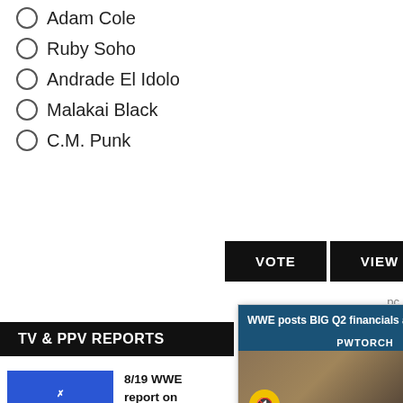Adam Cole
Ruby Soho
Andrade El Idolo
Malakai Black
C.M. Punk
VOTE   VIEW
pc
TV & PPV REPORTS
[Figure (screenshot): WWE posts BIG Q2 financials and Wrestl... popup with PWTORCH video showing Zack Heydon, with mute button and NEWSWIRE label]
[Figure (logo): WWE SmackDown logo - blue background with white text]
8/19 WWE report on five-way to vs. Shotzi
August 20...
[Figure (logo): AEW Rampage logo - black background]
8/19 AEW RAMPAGE TV REPORT: Swerve in our Glory vs. Private Party, Hook vs. Clayton, more
August 19, 2022